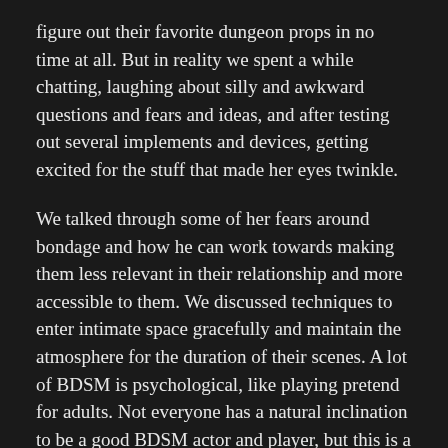figure out their favorite dungeon props in no time at all. But in reality we spent a while chatting, laughing about silly and awkward questions and fears and ideas, and after testing out several implements and devices, getting excited for the stuff that made her eyes twinkle.
We talked through some of her fears around bondage and how he can work towards making them less relevant in their relationship and more accessible to them. We discussed techniques to enter intimate space gracefully and maintain the atmosphere for the duration of their scenes. A lot of BDSM is psychological, like playing pretend for adults. Not everyone has a natural inclination to be a good BDSM actor and player, but this is a skill that anyone can learn and perfect with enough practice. Who would not want to check that chore off their list?
The room Melani Designed for Hannah and Wesley is a